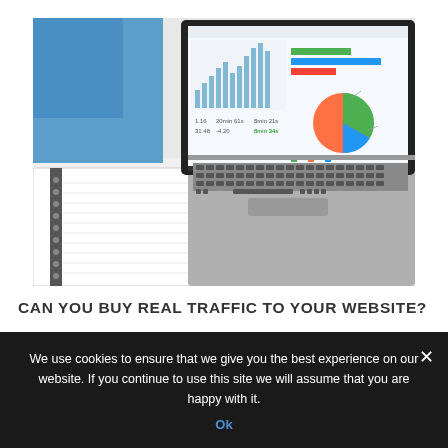[Figure (photo): Photograph of an open laptop showing analytics dashboards with bar charts and a pie chart on screen, placed on a white desk next to an open spiral notebook with a pen]
CAN YOU BUY REAL TRAFFIC TO YOUR WEBSITE?
We use cookies to ensure that we give you the best experience on our website. If you continue to use this site we will assume that you are happy with it.
Ok